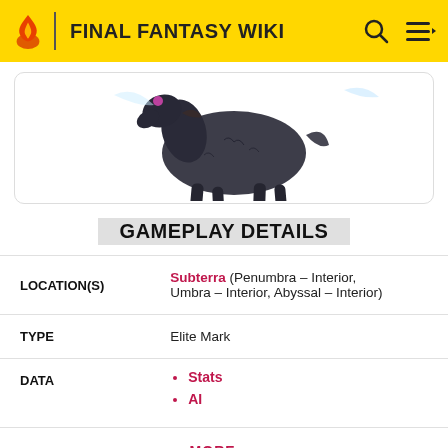FINAL FANTASY WIKI
[Figure (illustration): Dark/black textured horse-like creature (Elite Mark) with cracked rocky skin, partial wings, and a colored jewel on its head, shown walking on a white background.]
GAMEPLAY DETAILS
| Field | Value |
| --- | --- |
| LOCATION(S) | Subterra (Penumbra – Interior, Umbra – Interior, Abyssal – Interior) |
| TYPE | Elite Mark |
| DATA | Stats
AI |
MORE